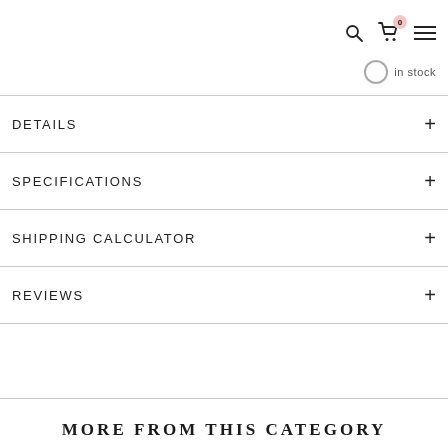0 in stock
DETAILS
SPECIFICATIONS
SHIPPING CALCULATOR
REVIEWS
MORE FROM THIS CATEGORY